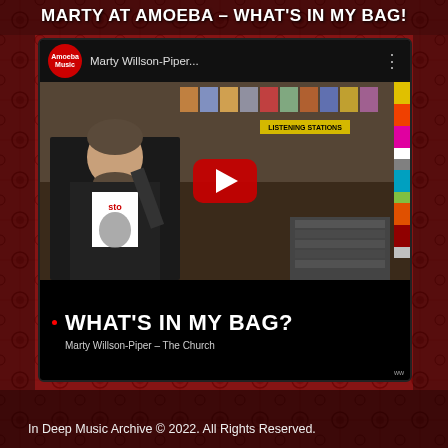MARTY AT AMOEBA – WHAT'S IN MY BAG!
[Figure (screenshot): YouTube video thumbnail showing Marty Willson-Piper at Amoeba Music store. The video is titled 'WHAT'S IN MY BAG?' with subtitle 'Marty Willson-Piper – The Church'. Shows a man in a black jacket with a t-shirt in a record store, with a red play button overlay and YouTube-style header showing 'Marty Willson-Piper...' channel name and Amoeba Music logo.]
In Deep Music Archive © 2022. All Rights Reserved.